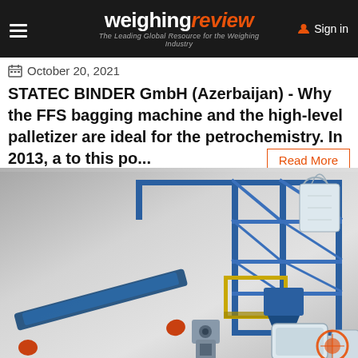weighingreview — The Leading Global Resource for the Weighing Industry | Sign in
October 20, 2021
STATEC BINDER GmbH (Azerbaijan) - Why the FFS bagging machine and the high-level palletizer are ideal for the petrochemistry. In 2013, a to this po...
Read More
[Figure (engineering-diagram): 3D render of STATEC BINDER industrial FFS bagging machine and high-level palletizer system, showing blue steel frame structure, yellow walkway platform, conveyor belt, bulk bags, and various industrial filling equipment components on a grey gradient background.]